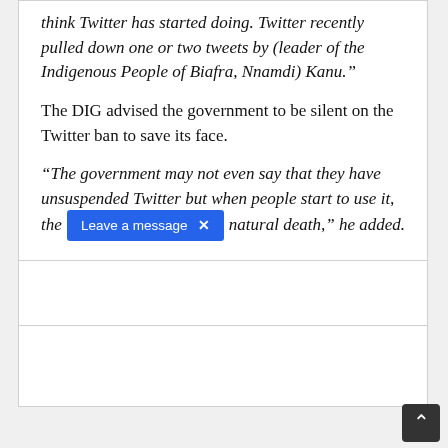think Twitter has started doing. Twitter recently pulled down one or two tweets by (leader of the Indigenous People of Biafra, Nnamdi) Kanu."
The DIG advised the government to be silent on the Twitter ban to save its face.
“The government may not even say that they have unsuspended Twitter but when people start to use it, the [Leave a message ×] natural death,” he added.